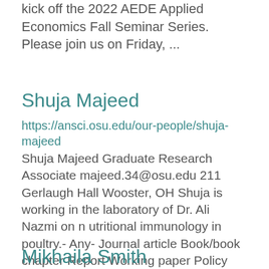kick off the 2022 AEDE Applied Economics Fall Seminar Series. Please join us on Friday, ...
Shuja Majeed
https://ansci.osu.edu/our-people/shuja-majeed
Shuja Majeed Graduate Research Associate majeed.34@osu.edu 211 Gerlaugh Hall Wooster, OH Shuja is working in the laboratory of Dr. Ali Nazmi on n utritional immunology in poultry.- Any- Journal article Book/book chapter Report Working paper Policy brief P ...
Mikhaila Smith